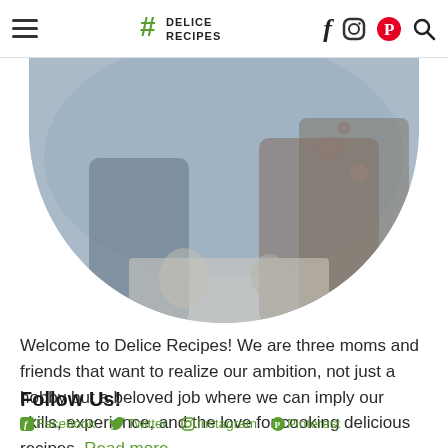# Delice Recipes — with Facebook, Instagram, Pinterest, Search icons
[Figure (photo): Circular cropped photo showing three people (moms/friends) around a table, partially visible, blue and floral tones]
Welcome to Delice Recipes! We are three moms and friends that want to realize our ambition, not just a hobby but a beloved job where we can imply our skills, experience, and the love for cooking delicious recipes. Read more...
Follow Us!
Facebook  Twitter  Instagram  Pinterest